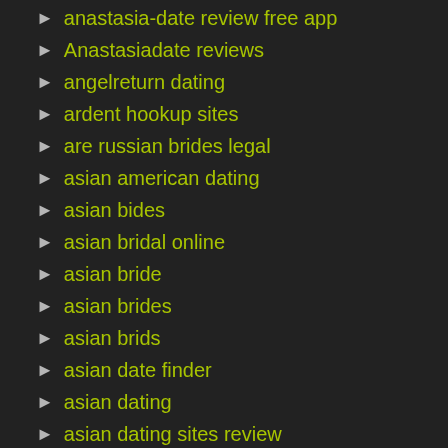anastasia-date review free app
Anastasiadate reviews
angelreturn dating
ardent hookup sites
are russian brides legal
asian american dating
asian bides
asian bridal online
asian bride
asian brides
asian brids
asian date finder
asian dating
asian dating sites review
asian mail brides